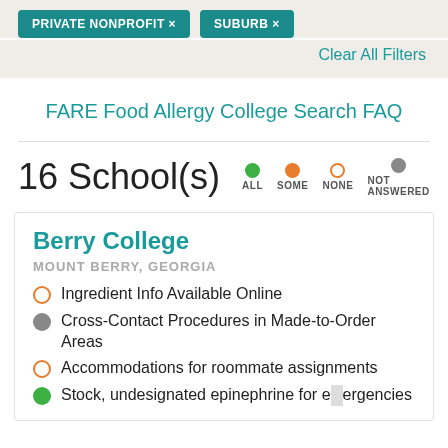PRIVATE NONPROFIT ×   SUBURB ×
Clear All Filters
FARE Food Allergy College Search FAQ
16 School(s)   ALL   SOME   NONE   NOT ANSWERED
Berry College
MOUNT BERRY, GEORGIA
Ingredient Info Available Online
Cross-Contact Procedures in Made-to-Order Areas
Accommodations for roommate assignments
Stock, undesignated epinephrine for emergencies